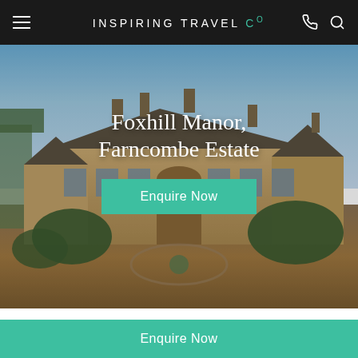INSPIRING TRAVEL Co
[Figure (photo): Exterior photograph of Foxhill Manor at Farncombe Estate — a large Cotswold stone manor house with multiple chimneys, gabled rooflines, ornate windows, surrounded by manicured hedges and a circular driveway with a garden feature, under a clear blue sky.]
Foxhill Manor, Farncombe Estate
Enquire Now
Europe / Uk And Ireland / England
Enquire Now